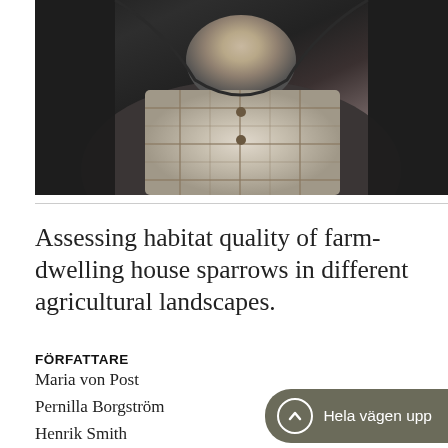[Figure (photo): Close-up photograph of a person wearing a black fleece jacket over a plaid/checkered shirt, showing the torso and lower face/chin area.]
Assessing habitat quality of farm-dwelling house sparrows in different agricultural landscapes.
FÖRFATTARE
Maria von Post
Pernilla Borgström
Henrik Smith
Ola Olsson